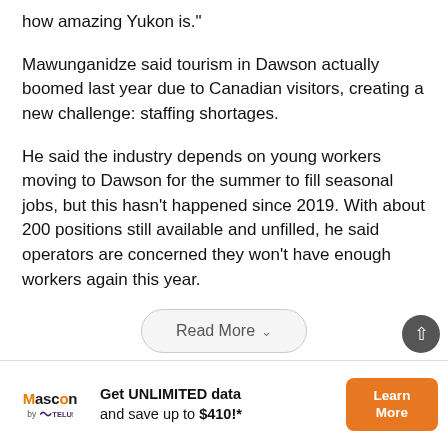how amazing Yukon is."
Mawunganidze said tourism in Dawson actually boomed last year due to Canadian visitors, creating a new challenge: staffing shortages.
He said the industry depends on young workers moving to Dawson for the summer to fill seasonal jobs, but this hasn’t happened since 2019. With about 200 positions still available and unfilled, he said operators are concerned they won’t have enough workers again this year.
[Figure (other): Read More button with chevron dropdown indicator]
[Figure (other): Scroll indicator circular button]
[Figure (other): Mascon by TELUS advertisement banner: Get UNLIMITED data and save up to $410!* with Learn More button]